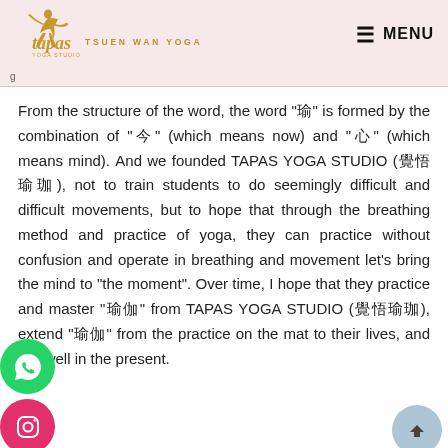Tapas Yoga Studio — TSUEN WAN YOGA — MENU
From the structure of the word, the word "瑜" is formed by the combination of "今" (which means now) and "心" (which means mind). And we founded TAPAS YOGA STUDIO (覺悟瑜珈), not to train students to do seemingly difficult and difficult movements, but to hope that through the breathing method and practice of yoga, they can practice without confusion and operate in breathing and movement let's bring the mind to "the moment". Over time, I hope that they practice and master "瑜伽" from TAPAS YOGA STUDIO (覺悟瑜珈), extend "瑜伽" from the practice on the mat to their lives, and live well in the present.